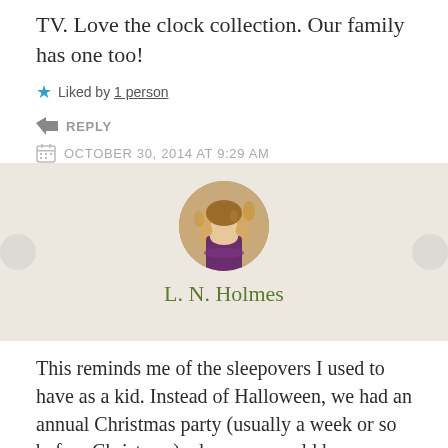TV. Love the clock collection. Our family has one too!
Liked by 1 person
REPLY
OCTOBER 30, 2014 AT 9:29 AM
L. N. Holmes
[Figure (photo): Circular avatar photo of L. N. Holmes, a woman with long blonde hair outdoors with autumn foliage in the background.]
This reminds me of the sleepovers I used to have as a kid. Instead of Halloween, we had an annual Christmas party (usually a week or so before Christmas) where we would have gingerbread house decorating competitions, absurd rounds of Apples to Apples, and video game tournaments. It wasn't until my later years in high school